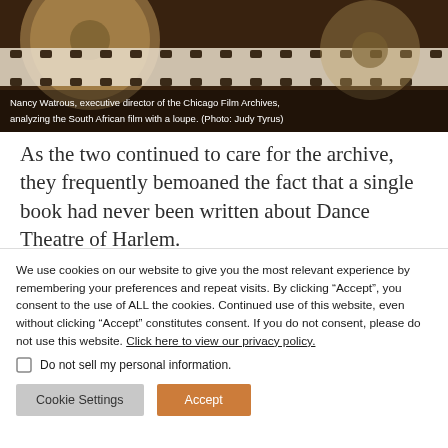[Figure (photo): Film reels on a dark wooden surface, showing a close-up of film strip with sprocket holes and metallic reel edges. Dark brown/mahogany tones.]
Nancy Watrous, executive director of the Chicago Film Archives, analyzing the South African film with a loupe. (Photo: Judy Tyrus)
As the two continued to care for the archive, they frequently bemoaned the fact that a single book had never been written about Dance Theatre of Harlem.
We use cookies on our website to give you the most relevant experience by remembering your preferences and repeat visits. By clicking “Accept”, you consent to the use of ALL the cookies. Continued use of this website, even without clicking “Accept” constitutes consent. If you do not consent, please do not use this website. Click here to view our privacy policy.
Do not sell my personal information.